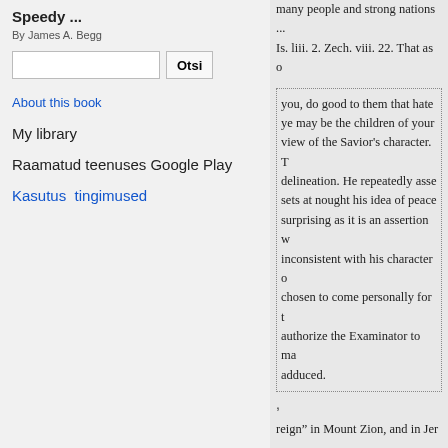Speedy ...
By James A. Begg
Otsi
About this book
My library
Raamatud teenuses Google Play
Kasutus tingimused
many people and strong nations ... Is. liii. 2. Zech. viii. 22. That as o
you, do good to them that hate ye may be the children of your view of the Savior's character. T delineation. He repeatedly asse sets at nought his idea of peace surprising as it is an assertion w inconsistent with his character chosen to come personally for t authorize the Examinator to ma adduced.
,
reign” in Mount Zion, and in Jer
Whatfvalid reason can be offe the above series, which was not con. cerning his sufferings and d the other which should induce us spiritualizing certain prophecies